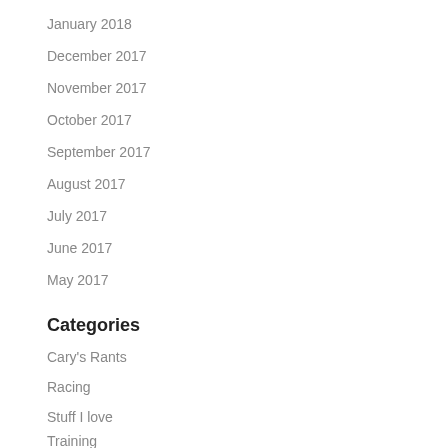January 2018
December 2017
November 2017
October 2017
September 2017
August 2017
July 2017
June 2017
May 2017
Categories
Cary's Rants
Racing
Stuff I love
Training